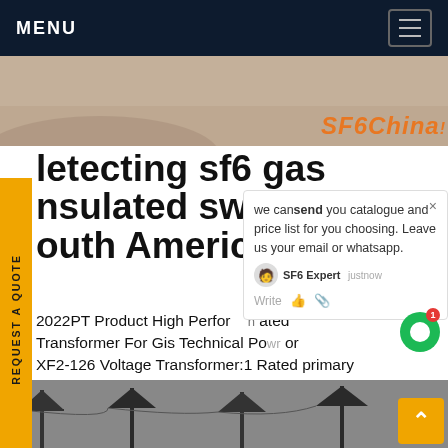MENU
[Figure (photo): Hero banner image showing industrial/vehicle equipment with SF6China branding]
detecting sf6 gas insulated switchg outh America
2022PT Product High Performance Isolated Transformer For Gis Technical Power or XF2-126 Voltage Transformer:1 Rated primary age: 66kV, 110kV, 132kV, 150kV and 220kV General R-40.5KV fully insulation insulating gas gas switchgear(gaz sf6 gasGet price
[Figure (screenshot): Chat popup overlay: 'we can send you catalogue and price list for you choosing. Leave us your email or whatsapp.' with SF6 Expert avatar, just now timestamp]
[Figure (photo): Bottom strip photo showing electrical transmission towers/pylons in black and white]